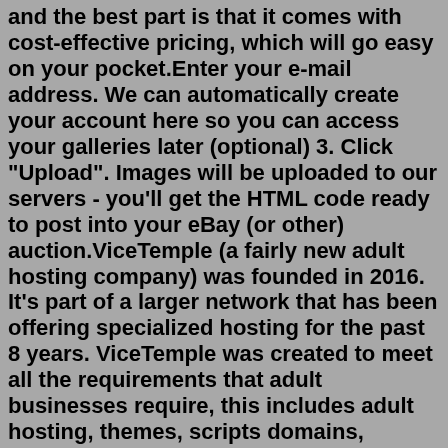and the best part is that it comes with cost-effective pricing, which will go easy on your pocket.Enter your e-mail address. We can automatically create your account here so you can access your galleries later (optional) 3. Click "Upload". Images will be uploaded to our servers - you'll get the HTML code ready to post into your eBay (or other) auction.ViceTemple (a fairly new adult hosting company) was founded in 2016. It's part of a larger network that has been offering specialized hosting for the past 8 years. ViceTemple was created to meet all the requirements that adult businesses require, this includes adult hosting, themes, scripts domains, etc.ImgBB is a free image hosting service that allows you to upload and share images within seconds. It's one of the quickest and most convenient ways of storing and sharing your photos online. ImgBB allows you to store jpg, png, bmp, gif, tif, web, heic, and pdf files.BNE Testimonials is another easy-to-use testimonial plugin that allows you to add reviews to any page using a shortcode or to any widget area. In addition, each